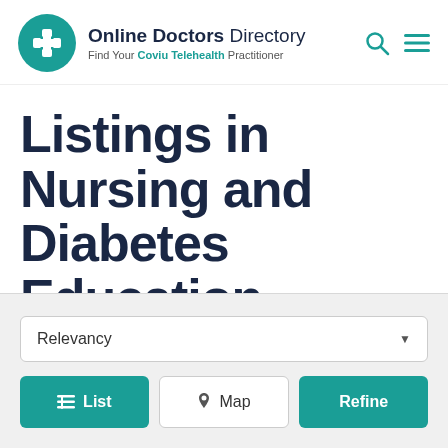[Figure (logo): Online Doctors Directory logo — teal circle with a medical cross/plus icon, followed by the text 'Online Doctors Directory' and subtitle 'Find Your Coviu Telehealth Practitioner']
Listings in Nursing and Diabetes Education
Showing 11 of 11 results
Relevancy
List  Map  Refine